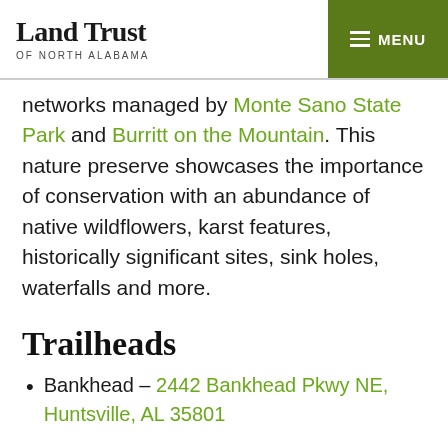Land Trust OF NORTH ALABAMA | MENU
networks managed by Monte Sano State Park and Burritt on the Mountain. This nature preserve showcases the importance of conservation with an abundance of native wildflowers, karst features, historically significant sites, sink holes, waterfalls and more.
Trailheads
Bankhead – 2442 Bankhead Pkwy NE, Huntsville, AL 35801